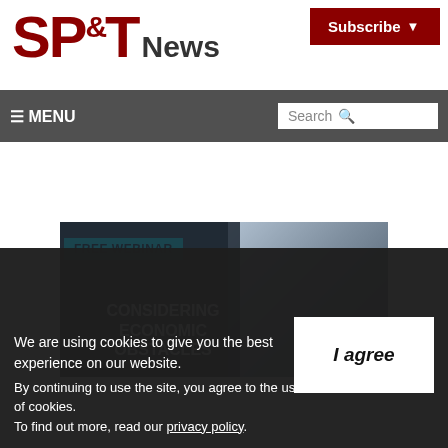SP&T News
Subscribe
≡ MENU
Search
[Figure (photo): FREE WEBINAR promotional banner showing handshake photo with text: CONSIDERING ECONOMIC OBSTACLES]
We are using cookies to give you the best experience on our website. By continuing to use the site, you agree to the use of cookies. To find out more, read our privacy policy.
I agree